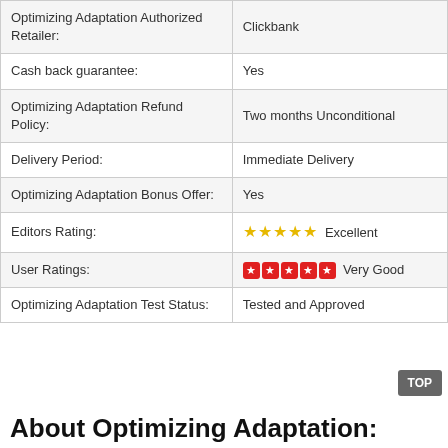|  |  |
| --- | --- |
| Optimizing Adaptation Authorized Retailer: | Clickbank |
| Cash back guarantee: | Yes |
| Optimizing Adaptation Refund Policy: | Two months Unconditional |
| Delivery Period: | Immediate Delivery |
| Optimizing Adaptation Bonus Offer: | Yes |
| Editors Rating: | ★★★★★ Excellent |
| User Ratings: | ★★★★★ Very Good |
| Optimizing Adaptation Test Status: | Tested and Approved |
About Optimizing Adaptation: